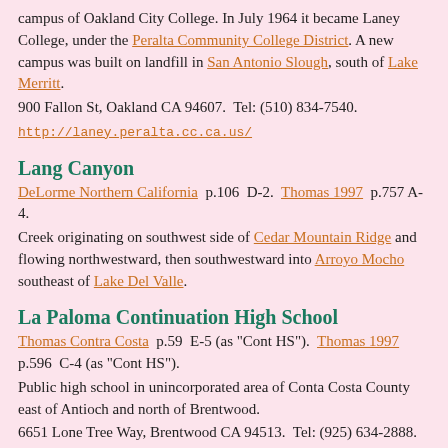campus of Oakland City College. In July 1964 it became Laney College, under the Peralta Community College District. A new campus was built on landfill in San Antonio Slough, south of Lake Merritt.
900 Fallon St, Oakland CA 94607.  Tel: (510) 834-7540.
http://laney.peralta.cc.ca.us/
Lang Canyon
DeLorme Northern California  p.106  D-2.  Thomas 1997  p.757 A-4.
Creek originating on southwest side of Cedar Mountain Ridge and flowing northwestward, then southwestward into Arroyo Mocho southeast of Lake Del Valle.
La Paloma Continuation High School
Thomas Contra Costa  p.59  E-5 (as "Cont HS").  Thomas 1997  p.596  C-4 (as "Cont HS").
Public high school in unincorporated area of Conta Costa County east of Antioch and north of Brentwood.
6651 Lone Tree Way, Brentwood CA 94513.  Tel: (925) 634-2888.
La Placita Mini Park
Thomas 1997  p.711  G-2 (unmarked).
Park in Hayward at El Dorado Ave & Sonoma St.
Picnic facilities, play area, lawns.